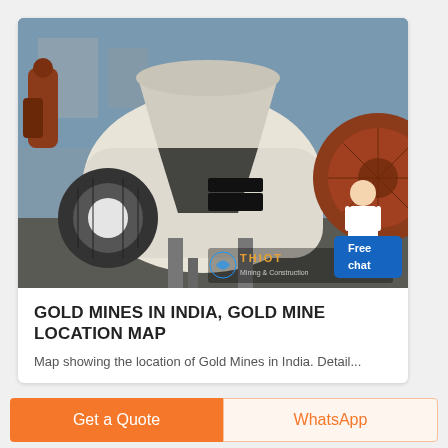[Figure (photo): Photo of large industrial mining/crushing machinery (cone crusher or similar) in white and brown/rust colors, set outdoors on a worksite. A watermark reading 'THIOT Mining & Construction' with a logo is visible at the bottom right. A blue 'Free chat' widget with a customer service avatar appears at the top right corner of the image.]
GOLD MINES IN INDIA, GOLD MINE LOCATION MAP
Map showing the location of Gold Mines in India. Detail...
Get a Quote
WhatsApp